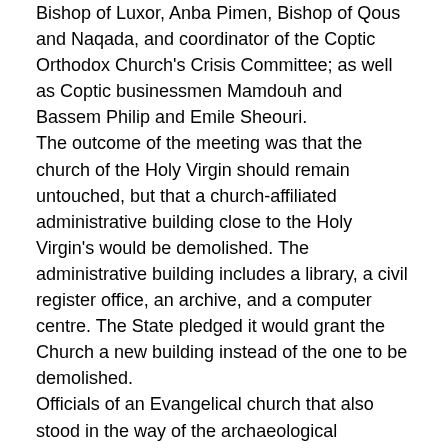Bishop of Luxor, Anba Pimen, Bishop of Qous and Naqada, and coordinator of the Coptic Orthodox Church's Crisis Committee; as well as Coptic businessmen Mamdouh and Bassem Philip and Emile Sheouri. The outcome of the meeting was that the church of the Holy Virgin should remain untouched, but that a church-affiliated administrative building close to the Holy Virgin's would be demolished. The administrative building includes a library, a civil register office, an archive, and a computer centre. The State pledged it would grant the Church a new building instead of the one to be demolished. Officials of an Evangelical church that also stood in the way of the archaeological excavations agreed to have their church pulled down in exchange for a new church to be granted to them by the State.
Avenue of the rams
News of the demolition of the 115-year-old church of the